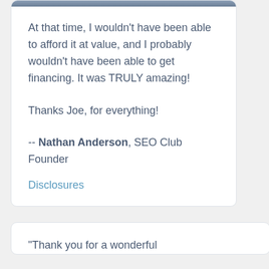[Figure (photo): Partial photo strip at top of card]
At that time, I wouldn't have been able to afford it at value, and I probably wouldn't have been able to get financing. It was TRULY amazing!
Thanks Joe, for everything!
-- Nathan Anderson, SEO Club Founder
Disclosures
"Thank you for a wonderful